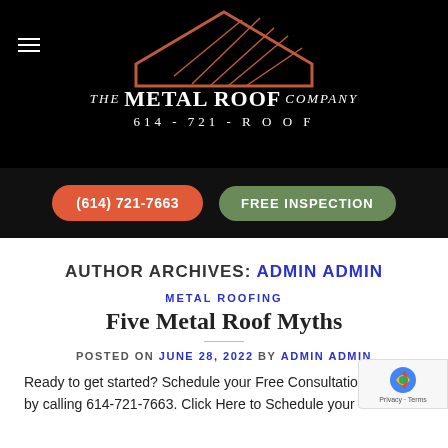[Figure (logo): The Metal Roof Company logo with copper-colored roof outline and phone number 614-721-ROOF on black background]
[Figure (screenshot): Two CTA buttons: orange (614) 721-7663 phone button and green FREE INSPECTION button on dark background]
AUTHOR ARCHIVES: ADMIN ADMIN
METAL ROOFING
Five Metal Roof Myths
POSTED ON JUNE 28, 2022 BY ADMIN ADMIN
Ready to get started? Schedule your Free Consultation by calling 614-721-7663. Click Here to Schedule your